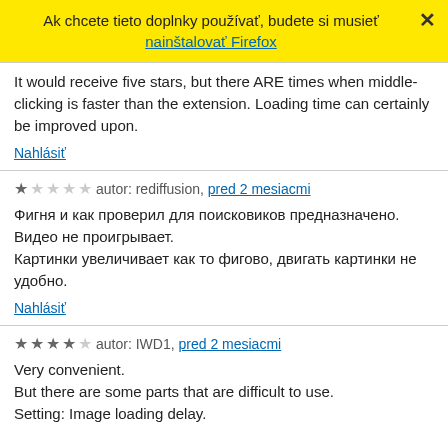Ak chcete tieto doplnky používať, budete si musieť nainštalovať Firefox
It would receive five stars, but there ARE times when middle-clicking is faster than the extension. Loading time can certainly be improved upon.
Nahlásiť
autor: rediffusion, pred 2 mesiacmi
Фигня и как проверил для поисковиков предназначено. Видео не проигрывает. Картинки увеличивает как то фигово, двигать картинки не удобно.
Nahlásiť
autor: IWD1, pred 2 mesiacmi
Very convenient. But there are some parts that are difficult to use. Setting: Image loading delay.